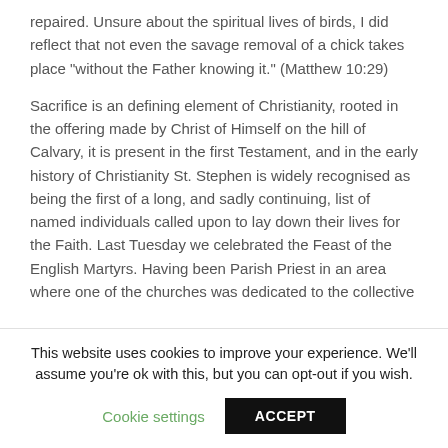repaired. Unsure about the spiritual lives of birds, I did reflect that not even the savage removal of a chick takes place "without the Father knowing it." (Matthew 10:29)
Sacrifice is an defining element of Christianity, rooted in the offering made by Christ of Himself on the hill of Calvary, it is present in the first Testament, and in the early history of Christianity St. Stephen is widely recognised as being the first of a long, and sadly continuing, list of named individuals called upon to lay down their lives for the Faith. Last Tuesday we celebrated the Feast of the English Martyrs. Having been Parish Priest in an area where one of the churches was dedicated to the collective patronage of
This website uses cookies to improve your experience. We'll assume you're ok with this, but you can opt-out if you wish.
Cookie settings
ACCEPT